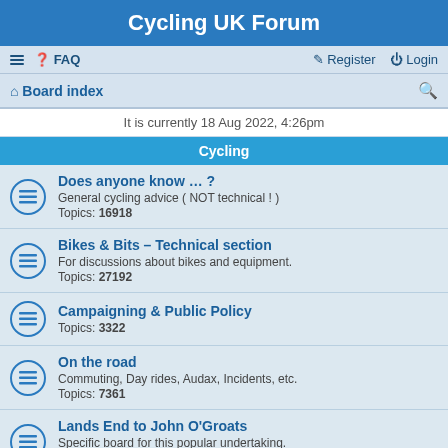Cycling UK Forum
≡ FAQ | Register Login
Board index
It is currently 18 Aug 2022, 4:26pm
Cycling
Does anyone know … ? General cycling advice ( NOT technical ! ) Topics: 16918
Bikes & Bits – Technical section For discussions about bikes and equipment. Topics: 27192
Campaigning & Public Policy Topics: 3322
On the road Commuting, Day rides, Audax, Incidents, etc. Topics: 7361
Lands End to John O'Groats Specific board for this popular undertaking. Topics: 2491